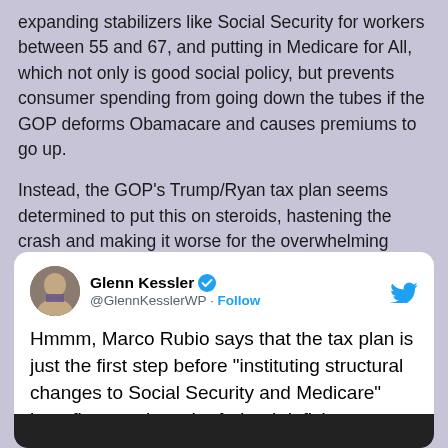expanding stabilizers like Social Security for workers between 55 and 67, and putting in Medicare for All, which not only is good social policy, but prevents consumer spending from going down the tubes if the GOP deforms Obamacare and causes premiums to go up.

Instead, the GOP's Trump/Ryan tax plan seems determined to put this on steroids, hastening the crash and making it worse for the overwhelming majority of Americans. But then again, that just clears the way for Step two of this evil, Piece of Shit tax plan.
[Figure (screenshot): Embedded tweet from Glenn Kessler (@GlennKesslerWP) with verified badge and Twitter bird logo. Tweet text: Hmmm, Marco Rubio says that the tax plan is just the first step before "instituting structural changes to Social Security and Medicare" benefits to reduce the federal deficit. Partially visible image at bottom of tweet card.]